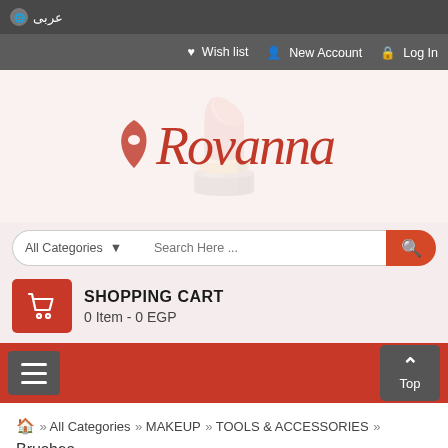عربى
Wish list  New Account  Log In
[Figure (logo): Rovanna brand logo in red italic serif font with a stylized face icon]
All Categories  Search Here ...
SHOPPING CART
0 Item - 0 EGP
≡  Top
🏠 » All Categories » MAKEUP » TOOLS & ACCESSORIES » Brushes